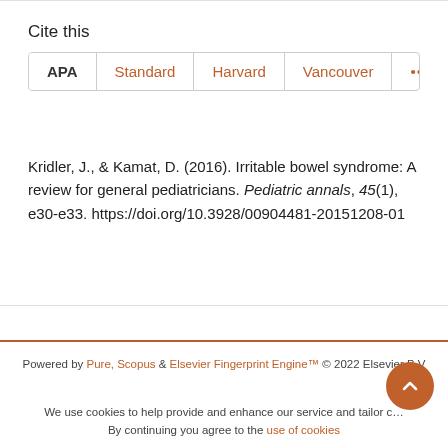Cite this
APA | Standard | Harvard | Vancouver | ...
Kridler, J., & Kamat, D. (2016). Irritable bowel syndrome: A review for general pediatricians. Pediatric annals, 45(1), e30-e33. https://doi.org/10.3928/00904481-20151208-01
Powered by Pure, Scopus & Elsevier Fingerprint Engine™ © 2022 Elsevier B.V
We use cookies to help provide and enhance our service and tailor content. By continuing you agree to the use of cookies